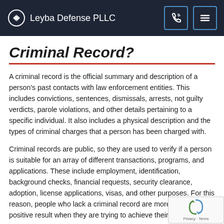Leyba Defense PLLC
Criminal Record?
A criminal record is the official summary and description of a person's past contacts with law enforcement entities. This includes convictions, sentences, dismissals, arrests, not guilty verdicts, parole violations, and other details pertaining to a specific individual. It also includes a physical description and the types of criminal charges that a person has been charged with.
Criminal records are public, so they are used to verify if a person is suitable for an array of different transactions, programs, and applications. These include employment, identification, background checks, financial requests, security clearance, adoption, license applications, visas, and other purposes. For this reason, people who lack a criminal record are more likely a positive result when they are trying to achieve their goals